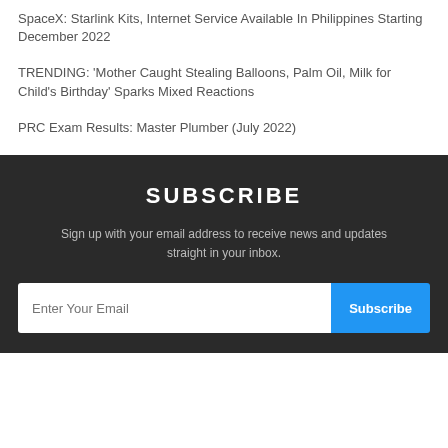SpaceX: Starlink Kits, Internet Service Available In Philippines Starting December 2022
TRENDING: 'Mother Caught Stealing Balloons, Palm Oil, Milk for Child's Birthday' Sparks Mixed Reactions
PRC Exam Results: Master Plumber (July 2022)
SUBSCRIBE
Sign up with your email address to receive news and updates straight in your inbox.